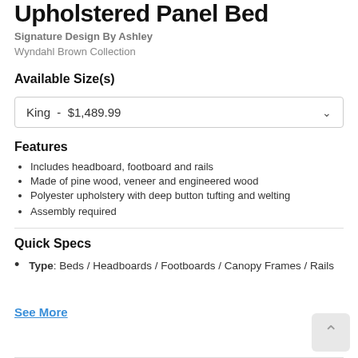Upholstered Panel Bed
Signature Design By Ashley
Wyndahl Brown Collection
Available Size(s)
King  -  $1,489.99
Features
Includes headboard, footboard and rails
Made of pine wood, veneer and engineered wood
Polyester upholstery with deep button tufting and welting
Assembly required
Quick Specs
Type: Beds / Headboards / Footboards / Canopy Frames / Rails
See More